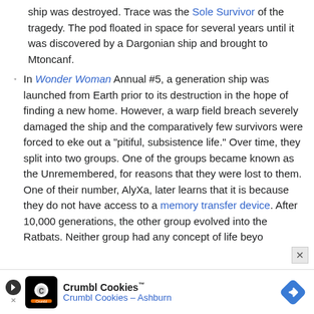ship was destroyed. Trace was the Sole Survivor of the tragedy. The pod floated in space for several years until it was discovered by a Dargonian ship and brought to Mtoncanf.
In Wonder Woman Annual #5, a generation ship was launched from Earth prior to its destruction in the hope of finding a new home. However, a warp field breach severely damaged the ship and the comparatively few survivors were forced to eke out a "pitiful, subsistence life." Over time, they split into two groups. One of the groups became known as the Unremembered, for reasons that they were lost to them. One of their number, AlyXa, later learns that it is because they do not have access to a memory transfer device. After 10,000 generations, the other group evolved into the Ratbats. Neither group had any concept of life beyo
[Figure (infographic): Advertisement bar for Crumbl Cookies with logo, text 'Crumbl Cookies™ Crumbl Cookies - Ashburn' and a blue diamond navigation icon]